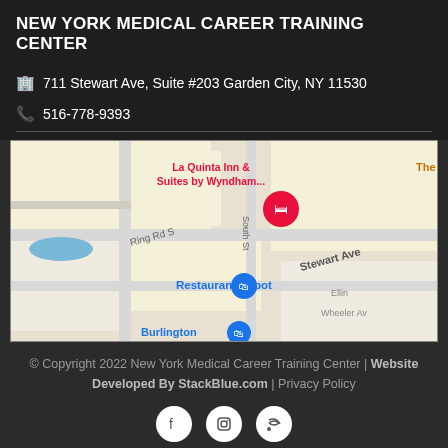NEW YORK MEDICAL CAREER TRAINING CENTER
711 Stewart Ave, Suite #203 Garden City, NY 11530
516-778-9393
[Figure (map): Google Maps view showing the area around 711 Stewart Ave, Garden City, NY. Shows nearby landmarks: La Quinta Inn & Suites by Wyndham, Restaurant Depot, Burlington, streets including Ring Rd S, South St, Stewart Ave, Quentin R., Wheeler Ave, Ellin.]
© Copyright 2022 New York Medical Career Training Center | Website Developed By StackBlue.com | Privacy Policy